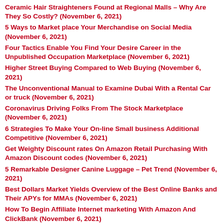Ceramic Hair Straighteners Found at Regional Malls – Why Are They So Costly? (November 6, 2021)
5 Ways to Market place Your Merchandise on Social Media (November 6, 2021)
Four Tactics Enable You Find Your Desire Career in the Unpublished Occupation Marketplace (November 6, 2021)
Higher Street Buying Compared to Web Buying (November 6, 2021)
The Unconventional Manual to Examine Dubai With a Rental Car or truck (November 6, 2021)
Coronavirus Driving Folks From The Stock Marketplace (November 6, 2021)
6 Strategies To Make Your On-line Small business Additional Competitive (November 6, 2021)
Get Weighty Discount rates On Amazon Retail Purchasing With Amazon Discount codes (November 6, 2021)
5 Remarkable Designer Canine Luggage – Pet Trend (November 6, 2021)
Best Dollars Market Yields Overview of the Best Online Banks and Their APYs for MMAs (November 6, 2021)
How To Begin Affiliate Internet marketing With Amazon And ClickBank (November 6, 2021)
Follow The Tips To Protected Huge Cost savings On Online Grocery Browsing (November 6, 2021)
Significance of Dollar Shutters (November 6, 2021)